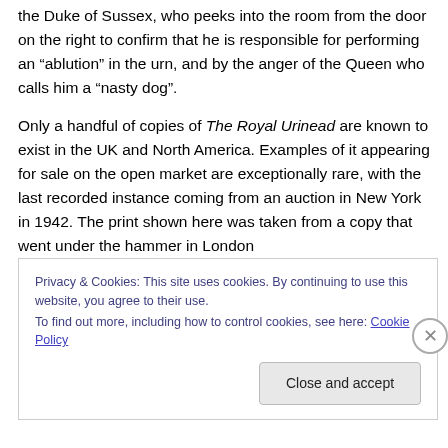the Duke of Sussex, who peeks into the room from the door on the right to confirm that he is responsible for performing an “ablution” in the urn, and by the anger of the Queen who calls him a “nasty dog”.
Only a handful of copies of The Royal Urinead are known to exist in the UK and North America. Examples of it appearing for sale on the open market are exceptionally rare, with the last recorded instance coming from an auction in New York in 1942. The print shown here was taken from a copy that went under the hammer in London
Privacy & Cookies: This site uses cookies. By continuing to use this website, you agree to their use.
To find out more, including how to control cookies, see here: Cookie Policy
Close and accept